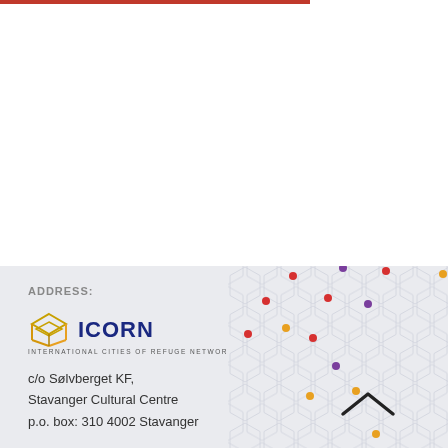ADDRESS:
[Figure (logo): ICORN logo — open book shape in orange/gold with ICORN text in dark blue, subtitle: INTERNATIONAL CITIES OF REFUGE NETWORK]
c/o Sølvberget KF,
Stavanger Cultural Centre
p.o. box: 310 4002 Stavanger